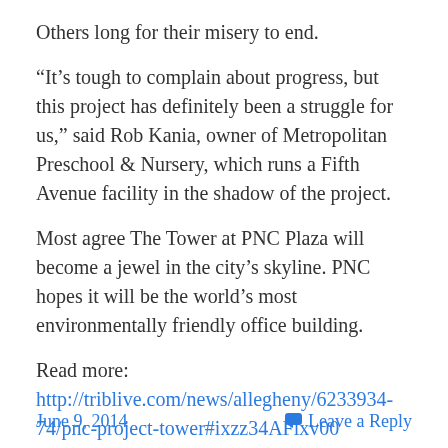Others long for their misery to end.
“It’s tough to complain about progress, but this project has definitely been a struggle for us,” said Rob Kania, owner of Metropolitan Preschool & Nursery, which runs a Fifth Avenue facility in the shadow of the project.
Most agree The Tower at PNC Plaza will become a jewel in the city’s skyline. PNC hopes it will be the world’s most environmentally friendly office building.
Read more: http://triblive.com/news/allegheny/6233934-74/pnc-project-tower#ixzz34AFlxv00
Follow us: @triblive on Twitter | triblive on Facebook
[Figure (other): Enhanced by Zemanta badge/logo]
June 9, 2014
Leave a Reply